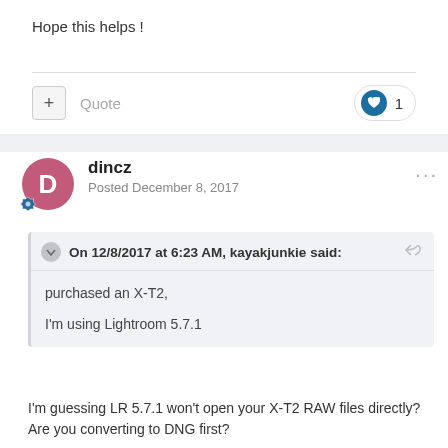Hope this helps !
Quote
dincz
Posted December 8, 2017
On 12/8/2017 at 6:23 AM, kayakjunkie said:
purchased an X-T2,
I'm using Lightroom 5.7.1
I'm guessing LR 5.7.1 won't open your X-T2 RAW files directly? Are you converting to DNG first?